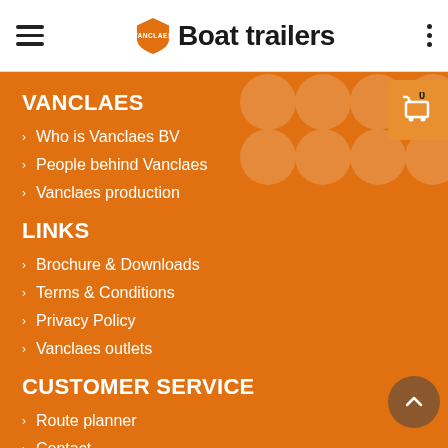Vanclaes Boat trailers
VANCLAES
Who is Vanclaes BV
People behind Vanclaes
Vanclaes production
LINKS
Brochure & Downloads
Terms & Conditions
Privacy Policy
Vanclaes outlets
CUSTOMER SERVICE
Route planner
Contact
Becoming a Business Partner?